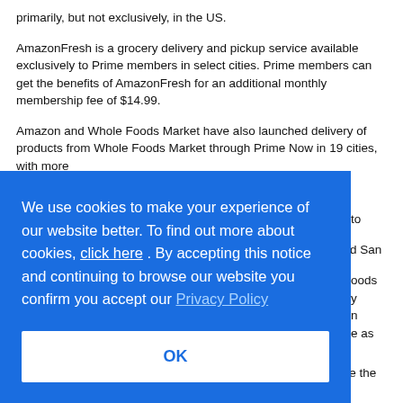primarily, but not exclusively, in the US.
AmazonFresh is a grocery delivery and pickup service available exclusively to Prime members in select cities. Prime members can get the benefits of AmazonFresh for an additional monthly membership fee of $14.99.
Amazon and Whole Foods Market have also launched delivery of products from Whole Foods Market through Prime Now in 19 cities, with more to and San foods y n e as
[Figure (screenshot): Cookie consent overlay banner with blue background. Text reads: 'We use cookies to make your experience of our website better. To find out more about cookies, click here . By accepting this notice and continuing to browse our website you confirm you accept our Privacy Policy'. Below is a white OK button with blue text.]
e oods delivery will be within year. Food, Whole Foods writes. "Despite the piecemeal process Amazon is